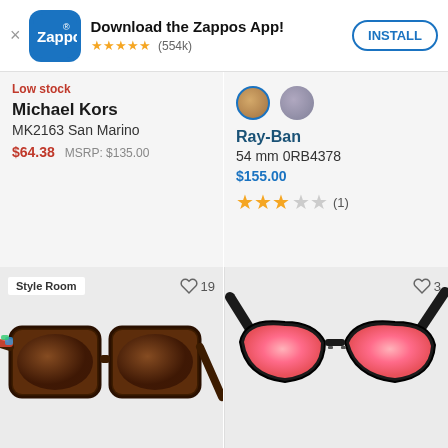[Figure (screenshot): Zappos app download banner with logo, star rating (554k reviews), and INSTALL button]
Low stock
Michael Kors
MK2163 San Marino
$64.38  MSRP: $135.00
[Figure (photo): Two color swatches: tan/brown (selected) and purple/grey for sunglasses]
Ray-Ban
54 mm 0RB4378
$155.00
★★★☆☆ (1)
[Figure (photo): Style Room badge, heart/wishlist icon with 19 count, tortoiseshell frame sunglasses with colorful temples]
[Figure (photo): Heart/wishlist icon with 3 count, black frame sunglasses with pink mirror lenses]